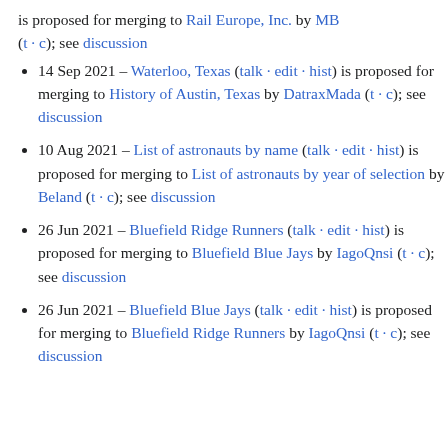is proposed for merging to Rail Europe, Inc. by MB (t · c); see discussion
14 Sep 2021 – Waterloo, Texas (talk · edit · hist) is proposed for merging to History of Austin, Texas by DatraxMada (t · c); see discussion
10 Aug 2021 – List of astronauts by name (talk · edit · hist) is proposed for merging to List of astronauts by year of selection by Beland (t · c); see discussion
26 Jun 2021 – Bluefield Ridge Runners (talk · edit · hist) is proposed for merging to Bluefield Blue Jays by IagoQnsi (t · c); see discussion
26 Jun 2021 – Bluefield Blue Jays (talk · edit · hist) is proposed for merging to Bluefield Ridge Runners by IagoQnsi (t · c); see discussion